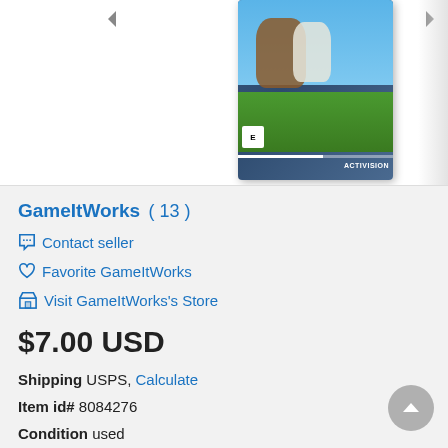[Figure (photo): Partial view of a video game case (animated characters, Activision logo, E rating) on a white/gray background with navigation arrows]
GameItWorks ( 13 )
Contact seller
Favorite GameItWorks
Visit GameItWorks's Store
$7.00 USD
Shipping USPS, Calculate
Item id# 8084276
Condition used